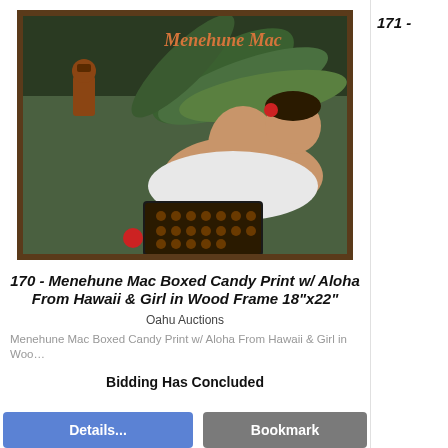[Figure (photo): Framed Menehune Mac Boxed Candy promotional print showing a woman in white reclining with chocolates, tropical foliage and a tiki figure in background, in a wood frame]
170 - Menehune Mac Boxed Candy Print w/ Aloha From Hawaii & Girl in Wood Frame 18"x22"
Oahu Auctions
Menehune Mac Boxed Candy Print w/ Aloha From Hawaii & Girl in Woo…
Bidding Has Concluded
[Figure (other): Details and Bookmark buttons]
171 -